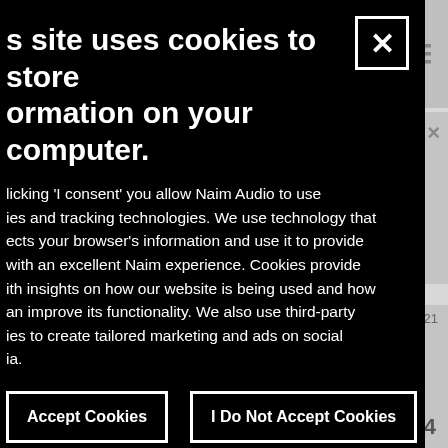[Figure (screenshot): Website background visible behind cookie consent modal: grey navigation bar with search and hamburger menu icons on right, grey content cards on right side with close button, partial text snippets and a page indicator '1 / 4']
s site uses cookies to store ormation on your computer.
licking 'I consent' you allow Naim Audio to use ies and tracking technologies. We use technology that ects your browser's information and use it to provide with an excellent Naim experience. Cookies provide ith insights on how our website is being used and how an improve its functionality. We also use third-party ies to create tailored marketing and ads on social ia.
Accept Cookies
I Do Not Accept Cookies
essary Cookies
essary cookies enable core functionality such as page...